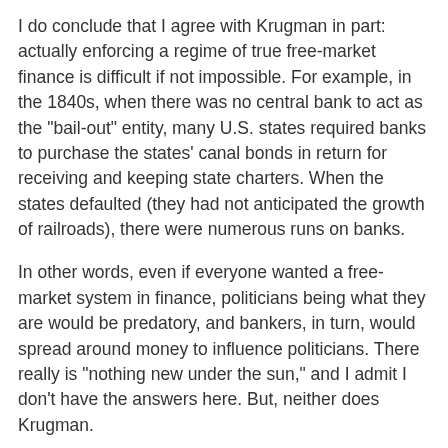I do conclude that I agree with Krugman in part: actually enforcing a regime of true free-market finance is difficult if not impossible. For example, in the 1840s, when there was no central bank to act as the "bail-out" entity, many U.S. states required banks to purchase the states' canal bonds in return for receiving and keeping state charters. When the states defaulted (they had not anticipated the growth of railroads), there were numerous runs on banks.
In other words, even if everyone wanted a free-market system in finance, politicians being what they are would be predatory, and bankers, in turn, would spread around money to influence politicians. There really is "nothing new under the sun," and I admit I don't have the answers here. But, neither does Krugman.
William L. Anderson at 11:06 AM    13 comments:
Monday, October 10, 2011
Who are the real plutocrats?